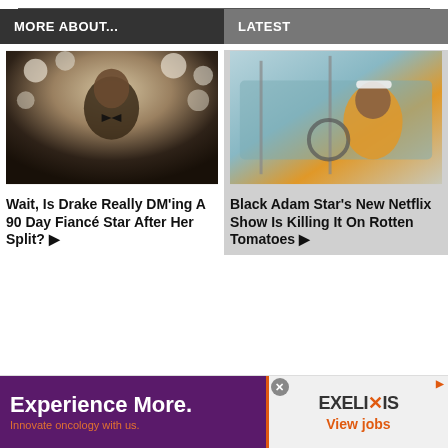MORE ABOUT...
LATEST
[Figure (photo): Man in tuxedo with bow tie at a wedding, flowers in background]
Wait, Is Drake Really DM'ing A 90 Day Fiancé Star After Her Split? ▶
[Figure (photo): Man in orange shirt sitting in a car, driving]
Black Adam Star's New Netflix Show Is Killing It On Rotten Tomatoes ▶
[Figure (infographic): Advertisement: Experience More. Innovate oncology with us. EXELIXIS View jobs]